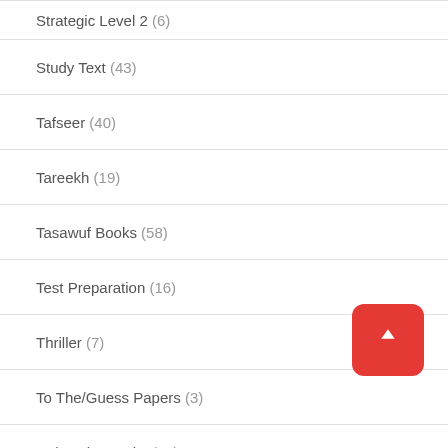Strategic Level 2 (6)
Study Text (43)
Tafseer (40)
Tareekh (19)
Tasawuf Books (58)
Test Preparation (16)
Thriller (7)
To The/Guess Papers (3)
University Books (18)